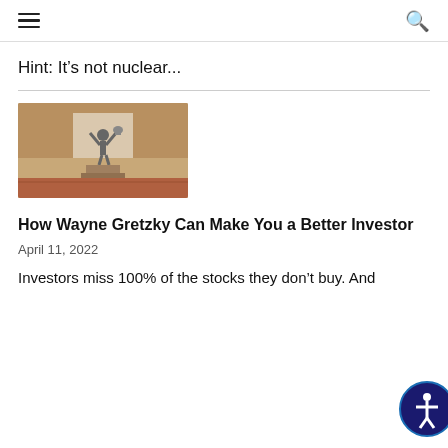Hint: It's not nuclear...
[Figure (photo): A statue of a hockey player (Wayne Gretzky) raising a trophy overhead, set against a brick building background with a brick/concrete base.]
How Wayne Gretzky Can Make You a Better Investor
April 11, 2022
Investors miss 100% of the stocks they don't buy. And